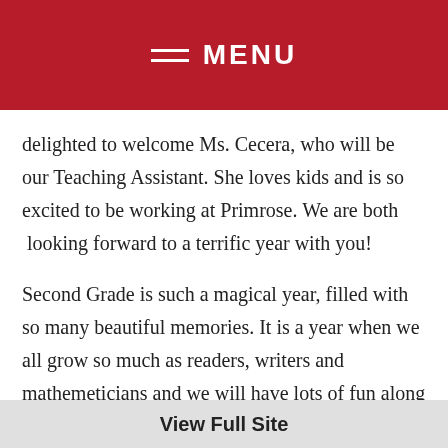MENU
delighted to welcome Ms. Cecera, who will be our Teaching Assistant. She loves kids and is so excited to be working at Primrose.  We are both  looking forward to a terrific year with you!
Second Grade is such a magical year, filled with so many beautiful memories.  It is a year when we all grow so much as readers, writers and mathemeticians and we will have lots of fun along the way!  There are so many books and stories just waiting for us to enjoy!  There are so many stories and poems just waiting for us to write!  There are so many
View Full Site